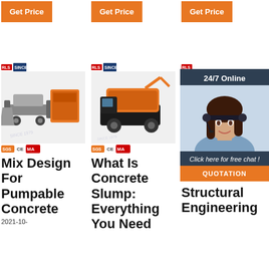[Figure (other): Orange 'Get Price' button, column 1]
[Figure (other): Orange 'Get Price' button, column 2]
[Figure (other): Orange 'Get Price' button, column 3]
[Figure (photo): Industrial concrete machine / conveyor equipment product photo with company logo and CE/MA certifications, column 1]
[Figure (photo): Orange concrete pump truck product photo with company logo and CE/MA certifications, column 2]
[Figure (photo): Partially visible product photo with chat widget overlay showing woman with headset, column 3]
Mix Design For Pumpable Concrete
What Is Concrete Slump: Everything You Need
Hi Slump Concrete - Structural Engineering
2021-10-
[Figure (infographic): Chat widget overlay: '24/7 Online' header, photo of smiling woman with headset, 'Click here for free chat!' text, orange QUOTATION button]